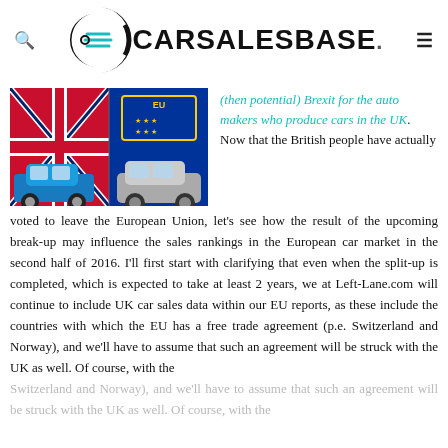CARSALESBASE.
[Figure (photo): Photo showing two cars (a blue Ford Fiesta and a grey SUV) in front of UK flag and EU sign]
(then potential) Brexit for the auto makers who produce cars in the UK. Now that the British people have actually voted to leave the European Union, let's see how the result of the upcoming break-up may influence the sales rankings in the European car market in the second half of 2016. I'll first start with clarifying that even when the split-up is completed, which is expected to take at least 2 years, we at Left-Lane.com will continue to include UK car sales data within our EU reports, as these include the countries with which the EU has a free trade agreement (p.e. Switzerland and Norway), and we'll have to assume that such an agreement will be struck with the UK as well. Of course, with the